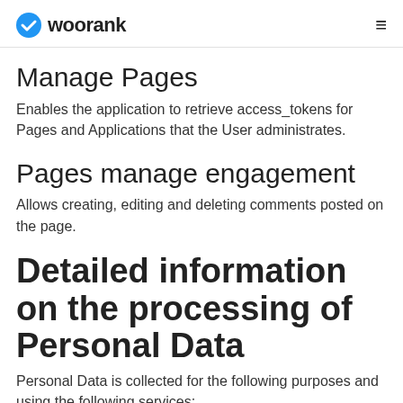woorank
Manage Pages
Enables the application to retrieve access_tokens for Pages and Applications that the User administrates.
Pages manage engagement
Allows creating, editing and deleting comments posted on the page.
Detailed information on the processing of Personal Data
Personal Data is collected for the following purposes and using the following services:
Access to third-party accounts